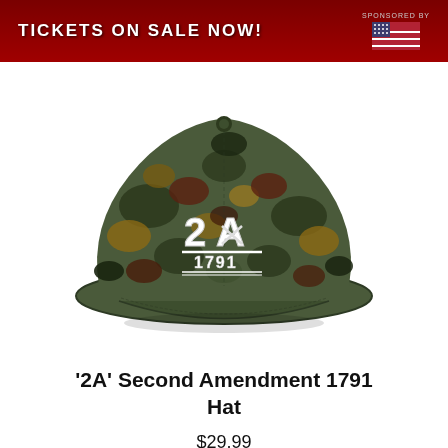[Figure (screenshot): Red banner advertisement with text 'TICKETS ON SALE NOW!' and 'SPONSORED BY' with an American flag icon on the right]
[Figure (photo): A camouflage dad hat with embroidered '2A' logo with crossed rifles and '1791' text below, on a white background]
'2A' Second Amendment 1791 Hat
$29.99